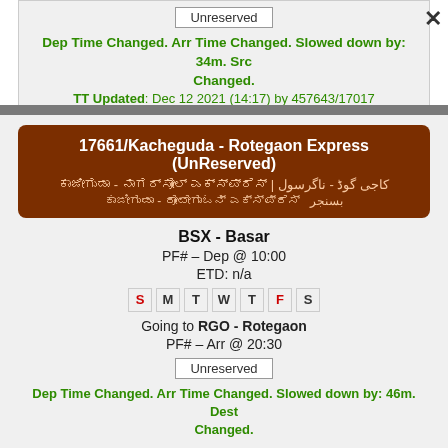Unreserved
Dep Time Changed. Arr Time Changed. Slowed down by: 34m. Src Changed.
TT Updated: Dec 12 2021 (14:17) by 457643/17017
17661/Kacheguda - Rotegaon Express (UnReserved)
کاجی گوڈ - ناگرسول | [script text] | بسنجر [script text]
BSX - Basar
PF# -- Dep @ 10:00
ETD: n/a
S M T W T F S
Going to RGO - Rotegaon
PF# -- Arr @ 20:30
Unreserved
Dep Time Changed. Arr Time Changed. Slowed down by: 46m. Dest Changed.